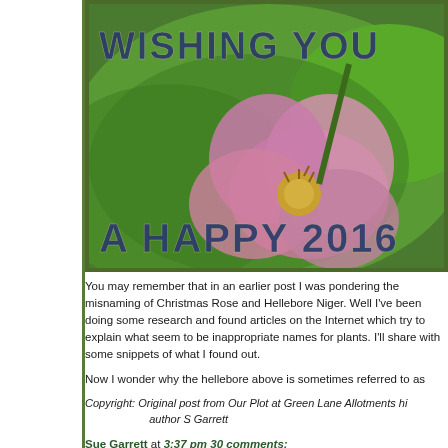[Figure (photo): Greeting card image with a pink hellebore flower on green leaves, with text overlay reading 'WISHING YOU A HAPPY 2016']
You may remember that in an earlier post I was pondering the misnames of Christmas Rose and Hellebore Niger. Well I've been doing some research and found articles on the Internet which try to explain what seem to be inappropriate names for plants. I'll share with some snippets of what I found out.
Now I wonder why the hellebore above is sometimes referred to as
Copyright: Original post from Our Plot at Green Lane Allotments hi author S Garrett
Sue Garrett at 3:37 pm 30 comments: